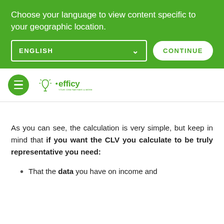Choose your language to view content specific to your geographic location.
[Figure (screenshot): Language selector dropdown showing ENGLISH with a dropdown arrow, and a CONTINUE button, on a green background]
[Figure (logo): Efficy CRM logo with hamburger menu icon on a white navigation bar]
As you can see, the calculation is very simple, but keep in mind that if you want the CLV you calculate to be truly representative you need:
That the data you have on income and customer lifetime are reliable